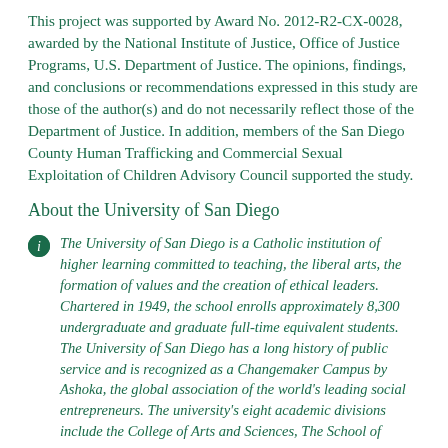This project was supported by Award No. 2012-R2-CX-0028, awarded by the National Institute of Justice, Office of Justice Programs, U.S. Department of Justice. The opinions, findings, and conclusions or recommendations expressed in this study are those of the author(s) and do not necessarily reflect those of the Department of Justice. In addition, members of the San Diego County Human Trafficking and Commercial Sexual Exploitation of Children Advisory Council supported the study.
About the University of San Diego
The University of San Diego is a Catholic institution of higher learning committed to teaching, the liberal arts, the formation of values and the creation of ethical leaders. Chartered in 1949, the school enrolls approximately 8,300 undergraduate and graduate full-time equivalent students. The University of San Diego has a long history of public service and is recognized as a Changemaker Campus by Ashoka, the global association of the world's leading social entrepreneurs. The university's eight academic divisions include the College of Arts and Sciences, The School of